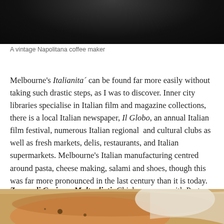[Figure (photo): Top portion of a vintage Napolitana coffee maker, dark background]
A vintage Napolitana coffee maker
Melbourne's Italianita´ can be found far more easily without taking such drastic steps, as I was to discover. Inner city libraries specialise in Italian film and magazine collections, there is a local Italian newspaper, Il Globo, an annual Italian film festival, numerous Italian regional  and cultural clubs as well as fresh markets, delis, restaurants, and Italian supermarkets. Melbourne's Italian manufacturing centred around pasta, cheese making, salami and shoes, though this was far more pronounced in the last century than it is today.
Zuppa di Ceci con Maltagliati- Chick pea soup with Pasta Offcuts.
[Figure (photo): Bottom portion showing a bowl of chick pea soup with pasta on a decorative plate]